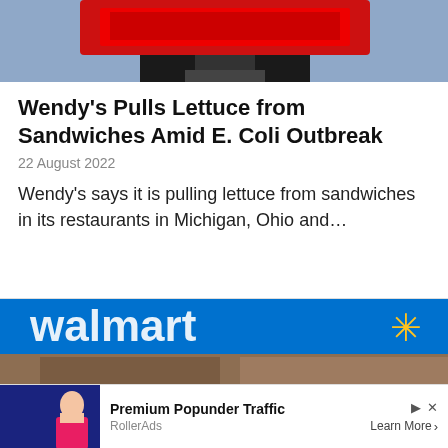[Figure (photo): Wendy's restaurant sign with red logo against blue sky, partially cropped]
Wendy’s Pulls Lettuce from Sandwiches Amid E. Coli Outbreak
22 August 2022
Wendy’s says it is pulling lettuce from sandwiches in its restaurants in Michigan, Ohio and…
[Figure (photo): Walmart store exterior showing blue sign with Walmart logo and yellow spark]
Ad | Premium Popunder Traffic | RollerAds | Learn More